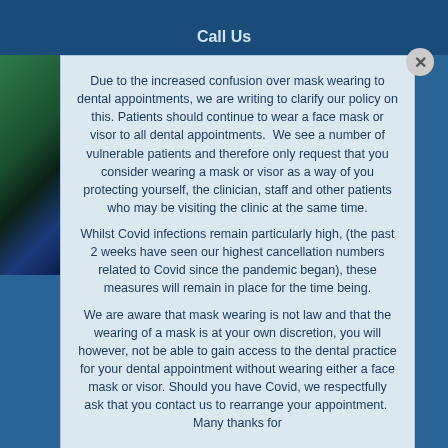Call Us
Due to the increased confusion over mask wearing to dental appointments, we are writing to clarify our policy on this. Patients should continue to wear a face mask or visor to all dental appointments. We see a number of vulnerable patients and therefore only request that you consider wearing a mask or visor as a way of you protecting yourself, the clinician, staff and other patients who may be visiting the clinic at the same time.
Whilst Covid infections remain particularly high, (the past 2 weeks have seen our highest cancellation numbers related to Covid since the pandemic began), these measures will remain in place for the time being.
We are aware that mask wearing is not law and that the wearing of a mask is at your own discretion, you will however, not be able to gain access to the dental practice for your dental appointment without wearing either a face mask or visor. Should you have Covid, we respectfully ask that you contact us to rearrange your appointment. Many thanks for your understanding and co-operation.